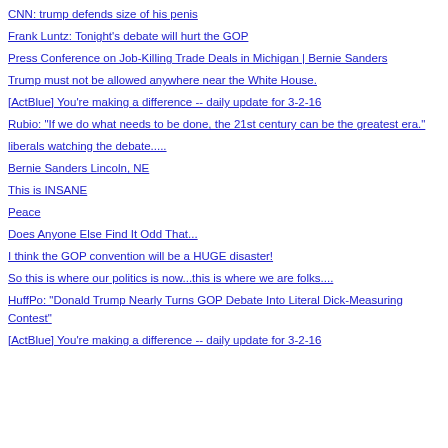CNN: trump defends size of his penis
Frank Luntz: Tonight's debate will hurt the GOP
Press Conference on Job-Killing Trade Deals in Michigan | Bernie Sanders
Trump must not be allowed anywhere near the White House.
[ActBlue] You're making a difference -- daily update for 3-2-16
Rubio: "If we do what needs to be done, the 21st century can be the greatest era."
liberals watching the debate.....
Bernie Sanders Lincoln, NE
This is INSANE
Peace
Does Anyone Else Find It Odd That...
I think the GOP convention will be a HUGE disaster!
So this is where our politics is now...this is where we are folks....
HuffPo: "Donald Trump Nearly Turns GOP Debate Into Literal Dick-Measuring Contest"
[ActBlue] You're making a difference -- daily update for 3-2-16